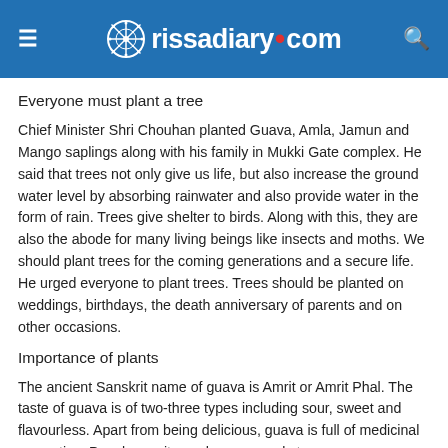rissadiary.com
Everyone must plant a tree
Chief Minister Shri Chouhan planted Guava, Amla, Jamun and Mango saplings along with his family in Mukki Gate complex. He said that trees not only give us life, but also increase the ground water level by absorbing rainwater and also provide water in the form of rain. Trees give shelter to birds. Along with this, they are also the abode for many living beings like insects and moths. We should plant trees for the coming generations and a secure life. He urged everyone to plant trees. Trees should be planted on weddings, birthdays, the death anniversary of parents and on other occasions.
Importance of plants
The ancient Sanskrit name of guava is Amrit or Amrit Phal. The taste of guava is of two-three types including sour, sweet and flavourless. Apart from being delicious, guava is full of medicinal properties. People use it as a home remedy to cure many diseases. And also called Amrit phala, Bhat el mba, Armored...